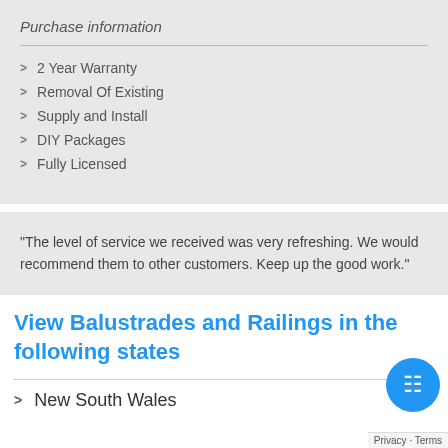Purchase information
2 Year Warranty
Removal Of Existing
Supply and Install
DIY Packages
Fully Licensed
"The level of service we received was very refreshing. We would recommend them to other customers. Keep up the good work."
View Balustrades and Railings in the following states
New South Wales